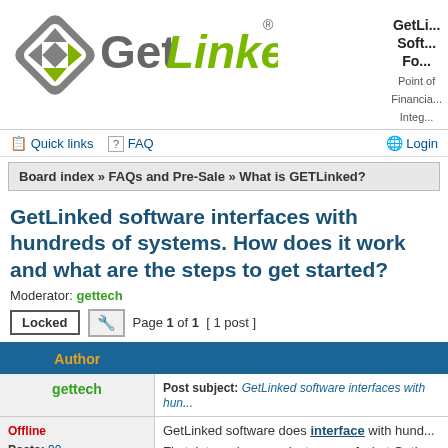[Figure (logo): GetLinked logo with diamond/arrow icon and green italic text]
GetLinked Software Forum
Point of Financial Integ...
Quick links  FAQ  Login
Board index » FAQs and Pre-Sale » What is GETLinked?
GetLinked software interfaces with hundreds of systems. How does it work and what are the steps to get started?
Moderator: gettech
Locked  [wrench icon]  Page 1 of 1 [ 1 post ]
| Author |  |
| --- | --- |
| gettech | Post subject: GetLinked software interfaces with hun... |
| Offline
Posts: 90
Joined: Wed Jan 11, 2012 5:56 pm | GetLinked software does interface with hund...

First, let us show you just some of what GetL...
The following sample screens show import fe...

Setup |